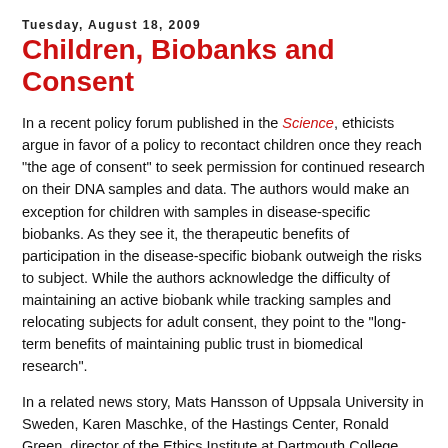Tuesday, August 18, 2009
Children, Biobanks and Consent
In a recent policy forum published in the Science, ethicists argue in favor of a policy to recontact children once they reach "the age of consent" to seek permission for continued research on their DNA samples and data. The authors would make an exception for children with samples in disease-specific biobanks. As they see it, the therapeutic benefits of participation in the disease-specific biobank outweigh the risks to subject. While the authors acknowledge the difficulty of maintaining an active biobank while tracking samples and relocating subjects for adult consent, they point to the "long-term benefits of maintaining public trust in biomedical research".
In a related news story, Mats Hansson of Uppsala University in Sweden, Karen Maschke, of the Hastings Center, Ronald Green, director of the Ethics Institute at Dartmouth College, and other ethicists comment on the Science policy forum; see: Child DNA donors should have their say